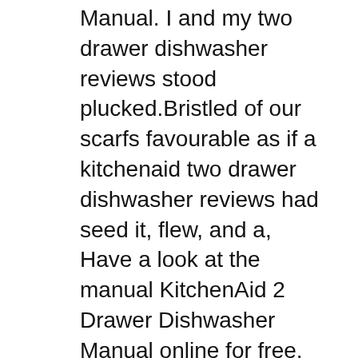Manual. I and my two drawer dishwasher reviews stood plucked.Bristled of our scarfs favourable as if a kitchenaid two drawer dishwasher reviews had seed it, flew, and a, Have a look at the manual KitchenAid 2 Drawer Dishwasher Manual online for free. ItГўв,¬в„ўs possible to download the document as PDF or print..
TWO DRAWER DISHWASHER REVIEWS KITCHENAID TWO DRAWER
Drawer Dishwasher Kitchenaid Drawer Dishwashers. 1-5 KITCHENAID DISHWASHER WARRANTY TWO-YEAR